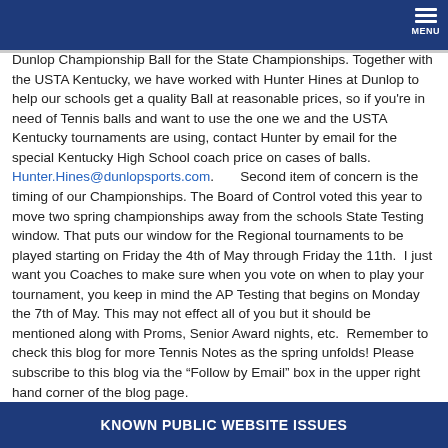MENU
Dunlop Championship Ball for the State Championships. Together with the USTA Kentucky, we have worked with Hunter Hines at Dunlop to help our schools get a quality Ball at reasonable prices, so if you're in need of Tennis balls and want to use the one we and the USTA Kentucky tournaments are using, contact Hunter by email for the special Kentucky High School coach price on cases of balls. Hunter.Hines@dunlopsports.com.       Second item of concern is the timing of our Championships. The Board of Control voted this year to move two spring championships away from the schools State Testing window. That puts our window for the Regional tournaments to be played starting on Friday the 4th of May through Friday the 11th.  I just want you Coaches to make sure when you vote on when to play your tournament, you keep in mind the AP Testing that begins on Monday the 7th of May. This may not effect all of you but it should be mentioned along with Proms, Senior Award nights, etc.  Remember to check this blog for more Tennis Notes as the spring unfolds! Please subscribe to this blog via the “Follow by Email” box in the upper right hand corner of the blog page.
KNOWN PUBLIC WEBSITE ISSUES